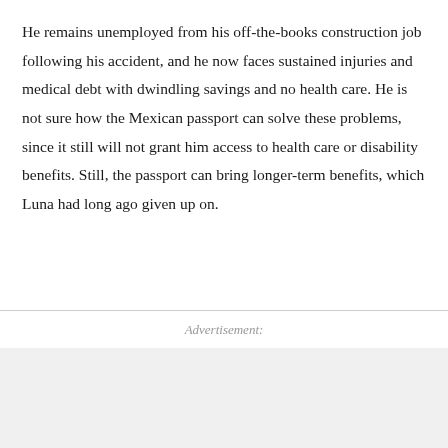He remains unemployed from his off-the-books construction job following his accident, and he now faces sustained injuries and medical debt with dwindling savings and no health care. He is not sure how the Mexican passport can solve these problems, since it still will not grant him access to health care or disability benefits. Still, the passport can bring longer-term benefits, which Luna had long ago given up on.
Advertisement: